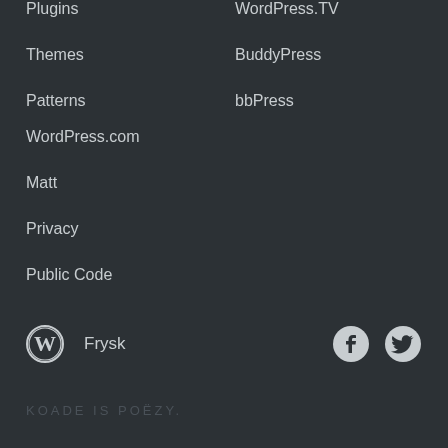Plugins
Themes
Patterns
WordPress.TV
BuddyPress
bbPress
WordPress.com
Matt
Privacy
Public Code
Frysk
KOADE IS POËZY.